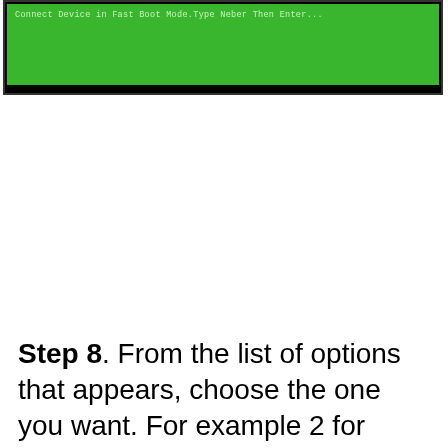[Figure (screenshot): Terminal/command window screenshot with green background showing text: 'Connect Device in Fast Boot Mode.Type Neber Then Enter...']
Step 8. From the list of options that appears, choose the one you want. For example 2 for removing the pattern, 3 for removing Mi Account, 5 for unlocking bootloader, etc.